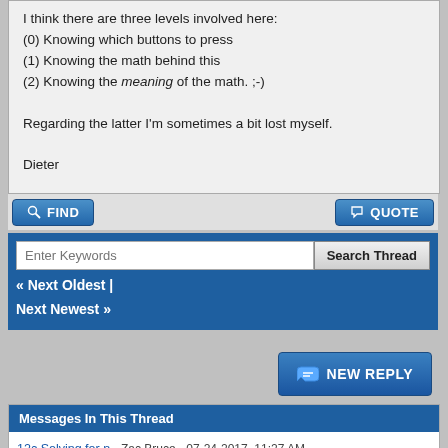I think there are three levels involved here:
(0) Knowing which buttons to press
(1) Knowing the math behind this
(2) Knowing the meaning of the math. ;-)

Regarding the latter I'm sometimes a bit lost myself.

Dieter
« Next Oldest | Next Newest »
Enter Keywords
Search Thread
NEW REPLY
Messages In This Thread
12c Solving for n - Zac Bruce - 07-24-2017, 11:27 AM
RE: 12c Solving for n - Dieter - 07-24-2017, 01:10 PM
RE: 12c Solving for n - Zac Bruce - 07-25-2017, 02:38 AM
RE: 12c Solving for n - Dieter - 07-25-2017, 09:44 AM
RE: 12c Solving for n - paul0207 - 07-25-2017, 04:52 AM
RE: 12c Solving for n - Zac Bruce - 07-25-2017, 05:51 AM